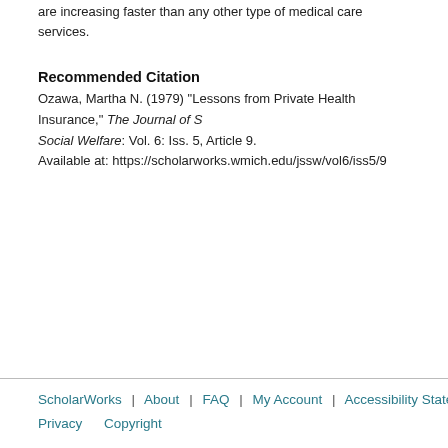are increasing faster than any other type of medical care services.
Recommended Citation
Ozawa, Martha N. (1979) "Lessons from Private Health Insurance," The Journal of Social Welfare: Vol. 6: Iss. 5, Article 9.
Available at: https://scholarworks.wmich.edu/jssw/vol6/iss5/9
ScholarWorks | About | FAQ | My Account | Accessibility Statement  Privacy  Copyright